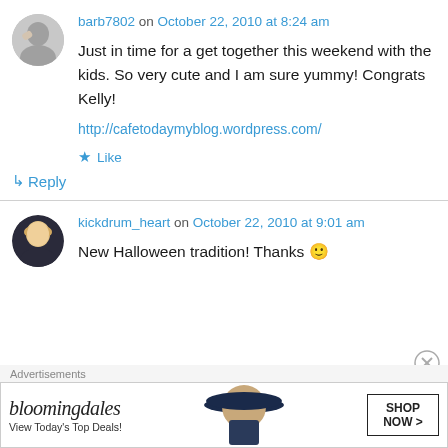[Figure (photo): Avatar of barb7802 - small circular profile image]
barb7802 on October 22, 2010 at 8:24 am
Just in time for a get together this weekend with the kids. So very cute and I am sure yummy! Congrats Kelly!
http://cafetodaymyblog.wordpress.com/
★ Like
↳ Reply
[Figure (photo): Avatar of kickdrum_heart - small circular profile image of a blonde woman]
kickdrum_heart on October 22, 2010 at 9:01 am
New Halloween tradition! Thanks 🙂
Advertisements
[Figure (illustration): Bloomingdale's advertisement banner: logo, View Today's Top Deals!, woman with wide-brim hat, SHOP NOW button]